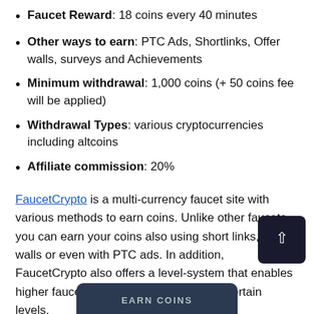Faucet Reward: 18 coins every 40 minutes
Other ways to earn: PTC Ads, Shortlinks, Offer walls, surveys and Achievements
Minimum withdrawal: 1,000 coins (+ 50 coins fee will be applied)
Withdrawal Types: various cryptocurrencies including altcoins
Affiliate commission: 20%
FaucetCrypto is a multi-currency faucet site with various methods to earn coins. Unlike other faucets, you can earn your coins also using short links, offer walls or even with PTC ads. In addition, FaucetCrypto also offers a level-system that enables higher faucet rewards when surpassing certain levels.